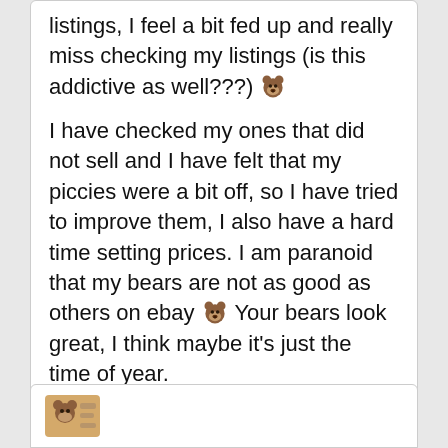listings, I feel a bit fed up and really miss checking my listings (is this addictive as well???) 🐻 I have checked my ones that did not sell and I have felt that my piccies were a bit off, so I have tried to improve them, I also have a hard time setting prices. I am paranoid that my bears are not as good as others on ebay 🐻 Your bears look great, I think maybe it's just the time of year. Ebay can be very hit and miss from what I have read, I think it will be down to personal choice...............I must admit, I don't know how many times I have had something in my watching that I know I really need/want but am just a few pounds short, the listing then ends and I have prayed that the lister will relist the item in a few days when I know that I will have a few extra pounds 🐻
[Figure (photo): Partial view of a second comment card with a small avatar image visible at the bottom left]